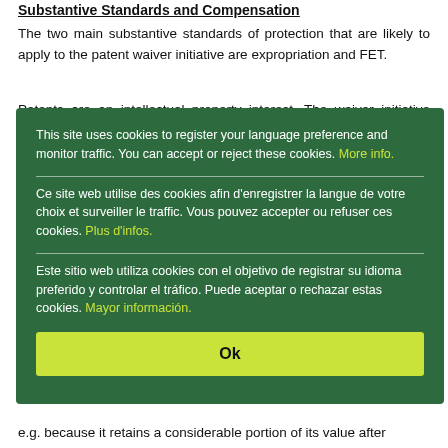Substantive Standards and Compensation
The two main substantive standards of protection that are likely to apply to the patent waiver initiative are expropriation and FET.
Patents are an intellectual property interest. The waiver initiative implies the interference with one of the major attributes of that proprietary interest, i.e. the patent holders'
This site uses cookies to register your language preference and monitor traffic. You can accept or reject these cookies. More info.

Ce site web utilise des cookies afin d'enregistrer la langue de votre choix et surveiller le traffic. Vous pouvez accepter ou refuser ces cookies. Plus d'infos.

Este sitio web utiliza cookies con el objetivo de registrar su idioma preferido y controlar el tráfico. Puede aceptar o rechazar estas cookies. Mayor información.

Ok
e.g. because it retains a considerable portion of its value after